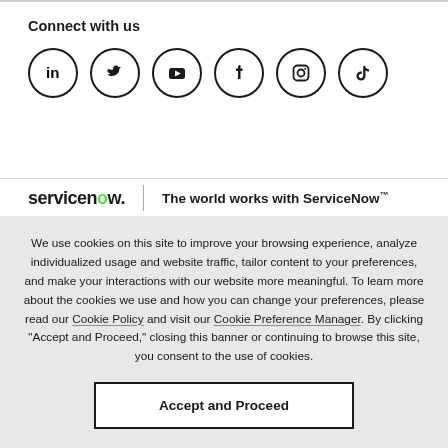Connect with us
[Figure (illustration): Six social media icons in circles: LinkedIn, Twitter, YouTube, Facebook, Instagram, TikTok]
[Figure (logo): ServiceNow logo with tagline: The world works with ServiceNow™]
We use cookies on this site to improve your browsing experience, analyze individualized usage and website traffic, tailor content to your preferences, and make your interactions with our website more meaningful. To learn more about the cookies we use and how you can change your preferences, please read our Cookie Policy and visit our Cookie Preference Manager. By clicking "Accept and Proceed," closing this banner or continuing to browse this site, you consent to the use of cookies.
Accept and Proceed